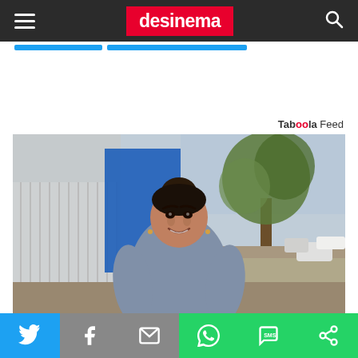desinema
Taboola Feed
[Figure (photo): Woman with dark hair in a bun, wearing a grey short-sleeve fitted dress, smiling, standing outdoors near a fence, a blue wall, trees, and a street with cars in the background.]
Social share bar: Twitter, Facebook, Email, WhatsApp, SMS, More